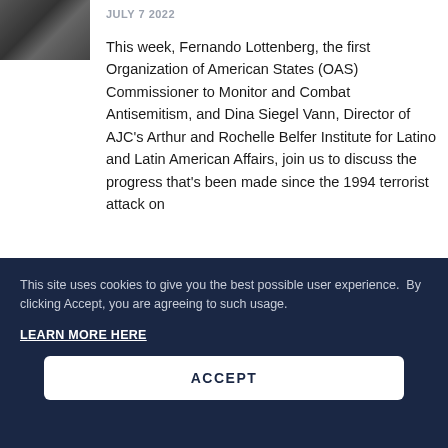[Figure (photo): Small thumbnail image, appears to show people, partially visible in top-left corner]
JULY 7 2022
This week, Fernando Lottenberg, the first Organization of American States (OAS) Commissioner to Monitor and Combat Antisemitism, and Dina Siegel Vann, Director of AJC's Arthur and Rochelle Belfer Institute for Latino and Latin American Affairs, join us to discuss the progress that's been made since the 1994 terrorist attack on
This site uses cookies to give you the best possible user experience.  By clicking Accept, you are agreeing to such usage.
LEARN MORE HERE
ACCEPT